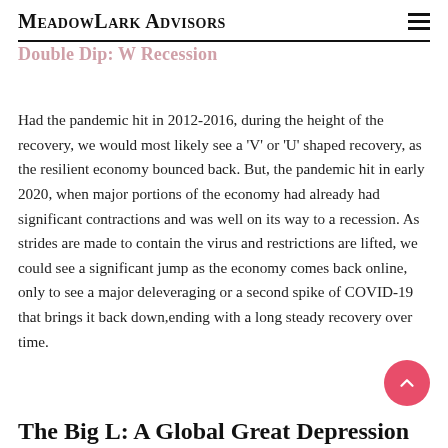MeadowLark Advisors
Double Dip: W Recession
Had the pandemic hit in 2012-2016, during the height of the recovery, we would most likely see a 'V' or 'U' shaped recovery, as the resilient economy bounced back. But, the pandemic hit in early 2020, when major portions of the economy had already had significant contractions and was well on its way to a recession. As strides are made to contain the virus and restrictions are lifted, we could see a significant jump as the economy comes back online, only to see a major deleveraging or a second spike of COVID-19 that brings it back down,ending with a long steady recovery over time.
The Big L: A Global Great Depression